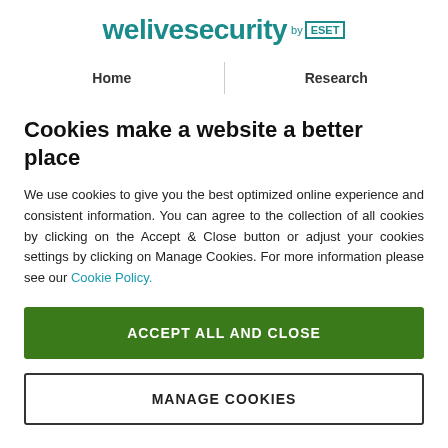welivesecurity by ESET
Home | Research
Cookies make a website a better place
We use cookies to give you the best optimized online experience and consistent information. You can agree to the collection of all cookies by clicking on the Accept & Close button or adjust your cookies settings by clicking on Manage Cookies. For more information please see our Cookie Policy.
ACCEPT ALL AND CLOSE
MANAGE COOKIES